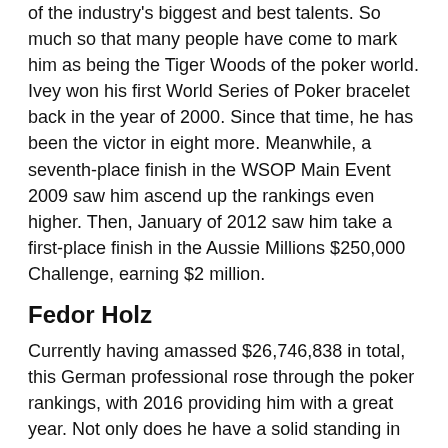of the industry's biggest and best talents. So much so that many people have come to mark him as being the Tiger Woods of the poker world. Ivey won his first World Series of Poker bracelet back in the year of 2000. Since that time, he has been the victor in eight more. Meanwhile, a seventh-place finish in the WSOP Main Event 2009 saw him ascend up the rankings even higher. Then, January of 2012 saw him take a first-place finish in the Aussie Millions $250,000 Challenge, earning $2 million.
Fedor Holz
Currently having amassed $26,746,838 in total, this German professional rose through the poker rankings, with 2016 providing him with a great year. Not only does he have a solid standing in live poker tournaments, but also in online poker gameplay. He was ranked as being the best online MTT player for the years of 2014 and 2015. As 2016 rolled around, though, he claimed his very first WSOP bracelet, which came just a few weeks after coming in second place during the Super High Roller bowl.
Antonio Esfandiari
There's little chance of seeking out a collection of the best poker players in the world without seeing Esfandiari on it. He's one of the biggest and most popular players in the live tournament sector. It's